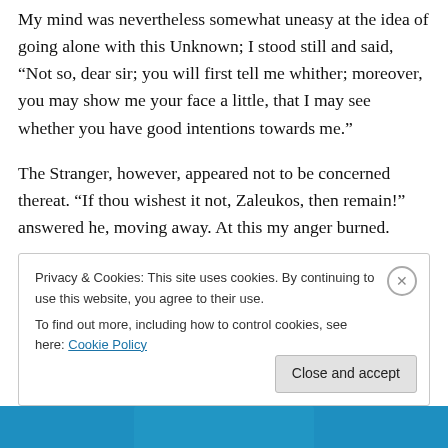My mind was nevertheless somewhat uneasy at the idea of going alone with this Unknown; I stood still and said, “Not so, dear sir; you will first tell me whither; moreover, you may show me your face a little, that I may see whether you have good intentions towards me.”
The Stranger, however, appeared not to be concerned thereat. “If thou wishest it not, Zaleukos, then remain!” answered he, moving away. At this my anger burned.
Privacy & Cookies: This site uses cookies. By continuing to use this website, you agree to their use.
To find out more, including how to control cookies, see here: Cookie Policy